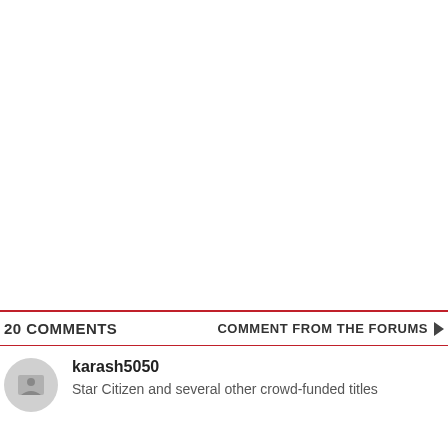20 COMMENTS   COMMENT FROM THE FORUMS ▶
karash5050
Star Citizen and several other crowd-funded titles